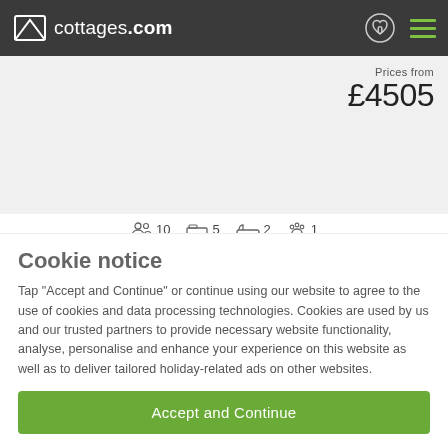cottages.com
Prices from £4505
10 guests  5 bedrooms  2 bathrooms  1 pet
No reviews yet
Keepers Cottage
Twigmoor, Lincolnshire
Cookie notice
Tap "Accept and Continue" or continue using our website to agree to the use of cookies and data processing technologies. Cookies are used by us and our trusted partners to provide necessary website functionality, analyse, personalise and enhance your experience on this website as well as to deliver tailored holiday-related ads on other websites.
Accept and Continue